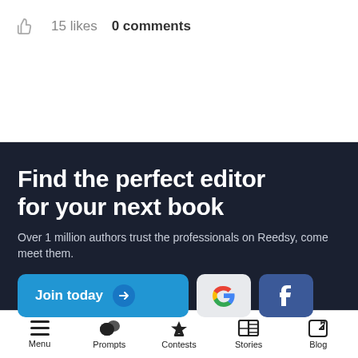15 likes   0 comments
Find the perfect editor for your next book
Over 1 million authors trust the professionals on Reedsy, come meet them.
[Figure (screenshot): Three buttons: 'Join today' (blue with arrow), Google sign-in (G logo on light grey), Facebook sign-in (f logo on blue)]
Menu   Prompts   Contests   Stories   Blog